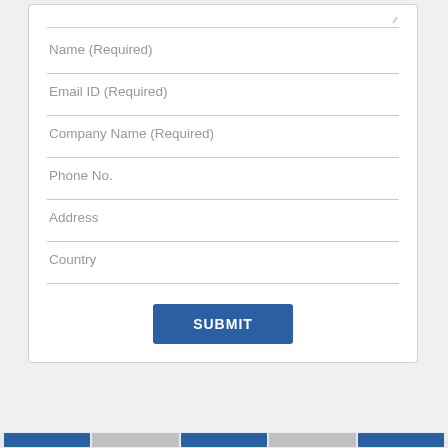Name (Required)
Email ID (Required)
Company Name (Required)
Phone No.
Address
Country
SUBMIT